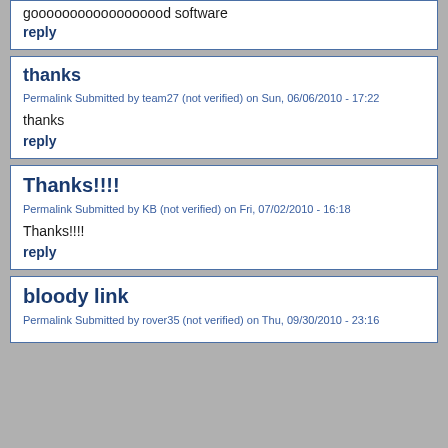goooooooooooooooood software
reply
thanks
Permalink Submitted by team27 (not verified) on Sun, 06/06/2010 - 17:22
thanks
reply
Thanks!!!!
Permalink Submitted by KB (not verified) on Fri, 07/02/2010 - 16:18
Thanks!!!!
reply
bloody link
Permalink Submitted by rover35 (not verified) on Thu, 09/30/2010 - 23:16